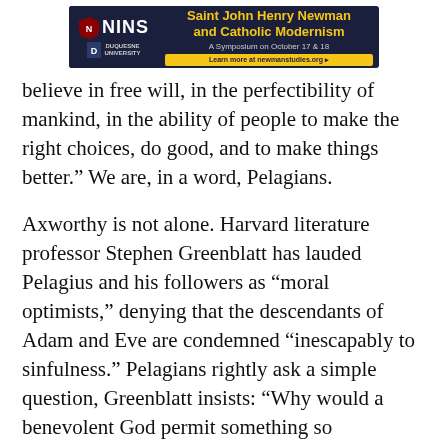[Figure (other): NINS / Duquesne University advertisement banner for 'Saint John Henry Newman and Catholic Modernism: A Symposium on October 17 & 18'. Learn more at newmanstudies.org]
believe in free will, in the perfectibility of mankind, in the ability of people to make the right choices, do good, and to make things better.” We are, in a word, Pelagians.
Axworthy is not alone. Harvard literature professor Stephen Greenblatt has lauded Pelagius and his followers as “moral optimists,” denying that the descendants of Adam and Eve are condemned “inescapably to sinfulness.” Pelagians rightly ask a simple question, Greenblatt insists: “Why would a benevolent God permit something so monstrous?”Scholars trace Pelagius’s origins to the British Isles. This encourages contemporary liberal Christians to associate him with the supposedly